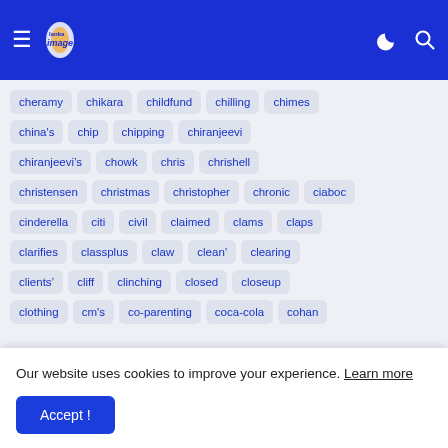[Figure (screenshot): Navigation bar with hamburger menu, Lanka Image logo, moon icon and search icon on blue background]
cheramy
chikara
childfund
chilling
chimes
china's
chip
chipping
chiranjeevi
chiranjeevi’s
chowk
chris
chrishell
christensen
christmas
christopher
chronic
ciaboc
cinderella
citi
civil
claimed
clams
claps
clarifies
classplus
claw
clean’
clearing
clients’
cliff
clinching
closed
closeup
clothing
cm's
co-parenting
coca-cola
cohan
Our website uses cookies to improve your experience. Learn more
Accept !